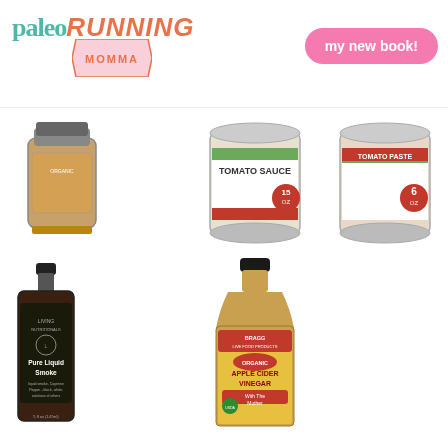[Figure (logo): Paleo Running Momma logo with teal 'paleo', orange italic 'RUNNING', pink ribbon badge 'MOMMA']
[Figure (other): Button/badge reading 'my new book!' in pink rounded rectangle]
[Figure (photo): Five product images: spice/seasoning jar, tomato sauce can (15 oz), tomato paste can (6 oz), Pure Liquid Smoke bottle (Living Nutritionals), Bragg Organic Apple Cider Vinegar bottle]